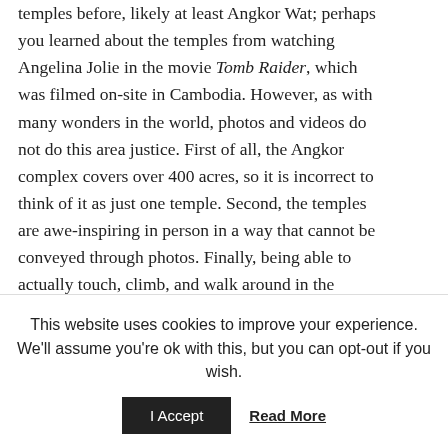temples before, likely at least Angkor Wat; perhaps you learned about the temples from watching Angelina Jolie in the movie Tomb Raider, which was filmed on-site in Cambodia. However, as with many wonders in the world, photos and videos do not do this area justice. First of all, the Angkor complex covers over 400 acres, so it is incorrect to think of it as just one temple. Second, the temples are awe-inspiring in person in a way that cannot be conveyed through photos. Finally, being able to actually touch, climb, and walk around in the temples is an experience that could never be brought to life with a picture. I
This website uses cookies to improve your experience. We'll assume you're ok with this, but you can opt-out if you wish.